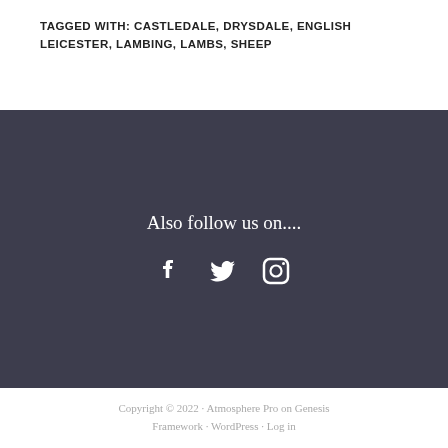TAGGED WITH: CASTLEDALE, DRYSDALE, ENGLISH LEICESTER, LAMBING, LAMBS, SHEEP
Also follow us on....
[Figure (other): Social media icons: Facebook, Twitter, Instagram (white icons on dark background)]
Copyright © 2022 · Atmosphere Pro on Genesis Framework · WordPress · Log in